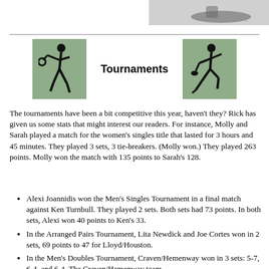[Figure (illustration): Partial image of sports footwear/boot at top right]
[Figure (illustration): Green square icon with silhouette of tennis player holding racket]
Tournaments
[Figure (illustration): Green square icon with silhouette of football/rugby player running]
The tournaments have been a bit competitive this year, haven't they? Rick has given us some stats that might interest our readers. For instance, Molly and Sarah played a match for the women's singles title that lasted for 3 hours and 45 minutes. They played 3 sets, 3 tie-breakers. (Molly won.) They played 263 points. Molly won the match with 135 points to Sarah's 128.
Alexi Joannidis won the Men's Singles Tournament in a final match against Ken Turnbull. They played 2 sets. Both sets had 73 points. In both sets, Alexi won 40 points to Ken's 33.
In the Arranged Pairs Tournament, Lita Newdick and Joe Cortes won in 2 sets, 69 points to 47 for Lloyd/Houston.
In the Men's Doubles Tournament, Craven/Hemenway won in 3 sets: 5-7, 6-4, and 6-4. The Craven/Hemenway team